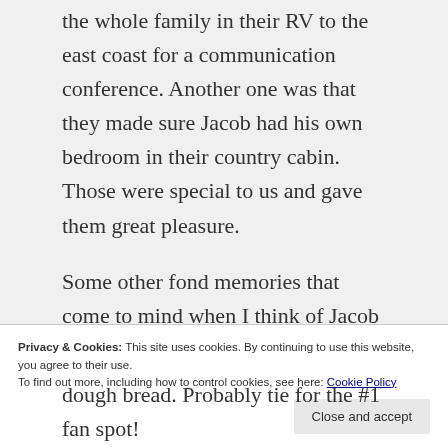the whole family in their RV to the east coast for a communication conference. Another one was that they made sure Jacob had his own bedroom in their country cabin. Those were special to us and gave them great pleasure.
Some other fond memories that come to mind when I think of Jacob and his Granddaddy – .
Jacob loves music. And, Granddaddy loves music, but he doesn't like to sing. Except to Jacob. Isn't that sweet how that works?!?
Privacy & Cookies: This site uses cookies. By continuing to use this website, you agree to their use. To find out more, including how to control cookies, see here: Cookie Policy
dough bread. Probably tie for the #1 fan spot!